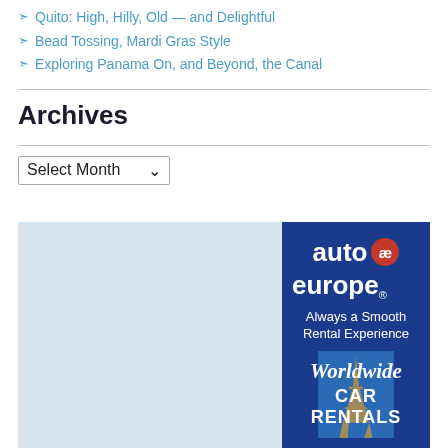Quito: High, Hilly, Old — and Delightful
Bead Tossing, Mardi Gras Style
Exploring Panama On, and Beyond, the Canal
Archives
Select Month
[Figure (photo): Auto Europe car rental advertisement banner showing the Eiffel Tower with text 'auto europe. Always a Smooth Rental Experience. Worldwide CAR RENTALS']